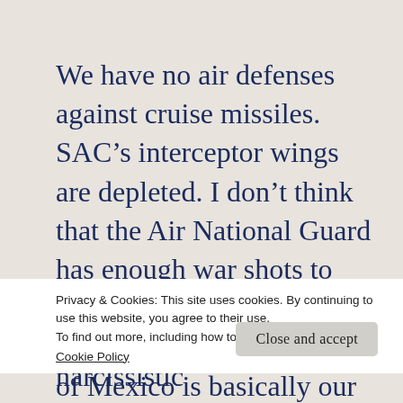We have no air defenses against cruise missiles. SAC's interceptor wings are depleted. I don't think that the Air National Guard has enough war shots to mount on an alert patrol wing. The Navy in the Gulf of Mexico is basically our
Privacy & Cookies: This site uses cookies. By continuing to use this website, you agree to their use.
To find out more, including how to control cookies, see here:
Cookie Policy
Close and accept
eliminate malignant narcissistic